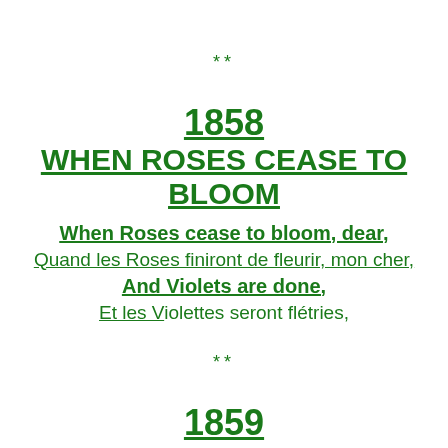**
1858
WHEN ROSES CEASE TO BLOOM
When Roses cease to bloom, dear,
Quand les Roses finiront de fleurir, mon cher,
And Violets are done,
Et les Violettes seront flétries,
**
1859
WHOSE CHEEK IS THIS ?
Whose cheek is this ?
A qui est cette joue ?